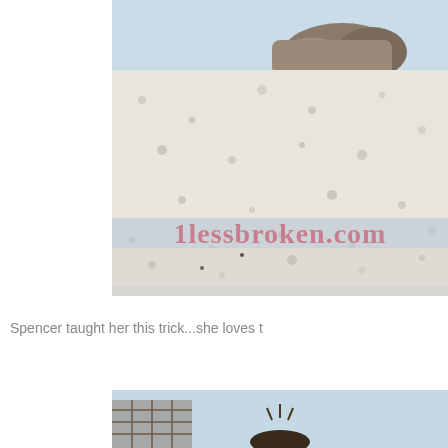[Figure (photo): Outdoor beach/salt flat scene with white sandy/rocky ground and dark rocks in the background under a light blue sky. A watermark reading '1lessbroken.com' is overlaid on the image in pinkish-red text.]
Spencer taught her this trick...she loves t
[Figure (photo): Bottom portion of a second outdoor photo showing a light blue sky and a dark animal (dog) with a decorative item, partially cropped.]